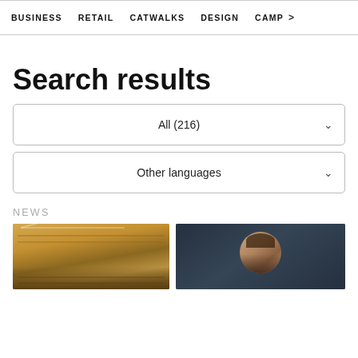BUSINESS   RETAIL   CATWALKS   DESIGN   CAMP >
Search results
All (216)
Other languages
NEWS
[Figure (photo): Interior of a retail/boutique store with warm golden lighting, decorative ceiling lights, and shelves displaying products.]
[Figure (photo): Portrait photo of an Asian woman with straight dark hair against a dark background.]